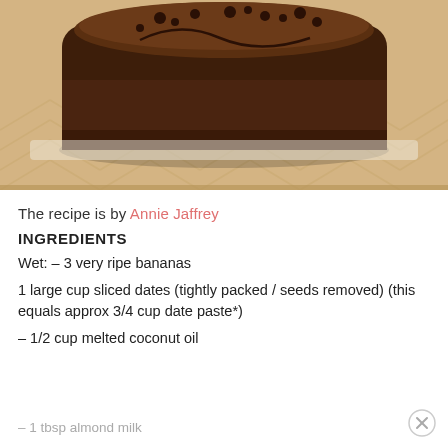[Figure (photo): A loaf of chocolate banana bread topped with oats and chocolate chips, sitting on a wooden chevron-patterned cutting board]
The recipe is by Annie Jaffrey
INGREDIENTS
Wet: – 3 very ripe bananas
1 large cup sliced dates (tightly packed / seeds removed) (this equals approx 3/4 cup date paste*)
– 1/2 cup melted coconut oil
– 1 tbsp almond milk